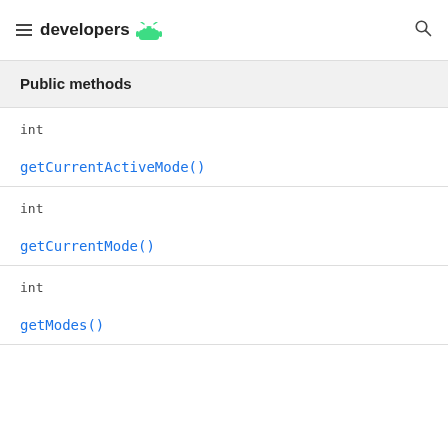developers
Public methods
int
getCurrentActiveMode()
int
getCurrentMode()
int
getModes()